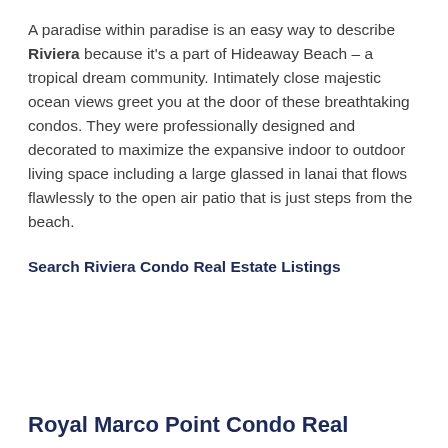A paradise within paradise is an easy way to describe Riviera because it's a part of Hideaway Beach – a tropical dream community. Intimately close majestic ocean views greet you at the door of these breathtaking condos. They were professionally designed and decorated to maximize the expansive indoor to outdoor living space including a large glassed in lanai that flows flawlessly to the open air patio that is just steps from the beach.
Search Riviera Condo Real Estate Listings
Royal Marco Point Condo Real